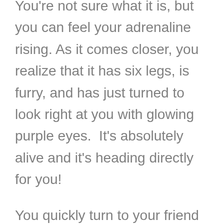You're not sure what it is, but you can feel your adrenaline rising. As it comes closer, you realize that it has six legs, is furry, and has just turned to look right at you with glowing purple eyes.  It's absolutely alive and it's heading directly for you!
You quickly turn to your friend behind you, but she's busy looking at something else.   Finally, she notices your distress, looks at you, and then she just stands there.  She doesn't